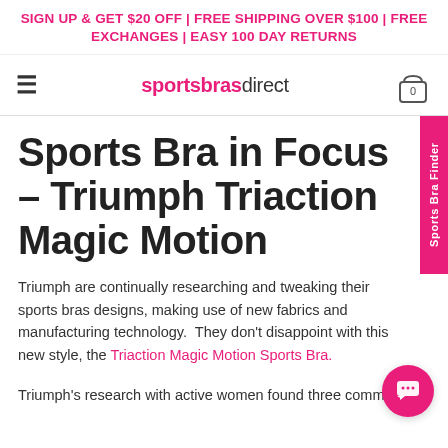SIGN UP & GET $20 OFF | FREE SHIPPING OVER $100 | FREE EXCHANGES | EASY 100 DAY RETURNS
sportsbrasdirect
Sports Bra in Focus – Triumph Triaction Magic Motion
Triumph are continually researching and tweaking their sports bras designs, making use of new fabrics and manufacturing technology.  They don't disappoint with this new style, the Triaction Magic Motion Sports Bra.
Triumph's research with active women found three common